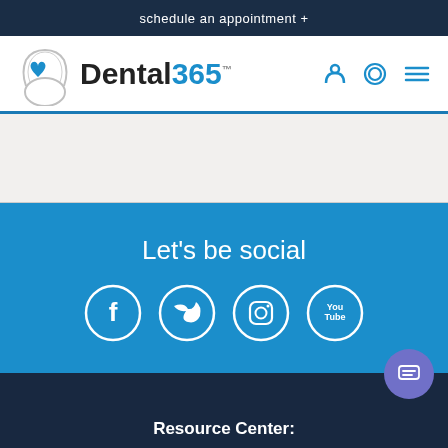schedule an appointment +
[Figure (logo): Dental365 logo with tooth and heart icon]
Let's be social
[Figure (illustration): Social media icons: Facebook, Twitter, Instagram, YouTube — white circles on blue background]
Resource Center: